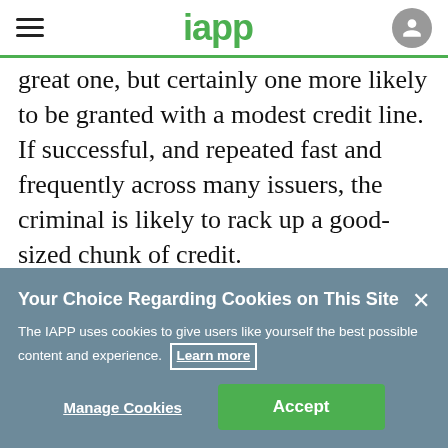iapp
great one, but certainly one more likely to be granted with a modest credit line. If successful, and repeated fast and frequently across many issuers, the criminal is likely to rack up a good-sized chunk of credit.
Your Choice Regarding Cookies on This Site
The IAPP uses cookies to give users like yourself the best possible content and experience. Learn more
Manage Cookies    Accept